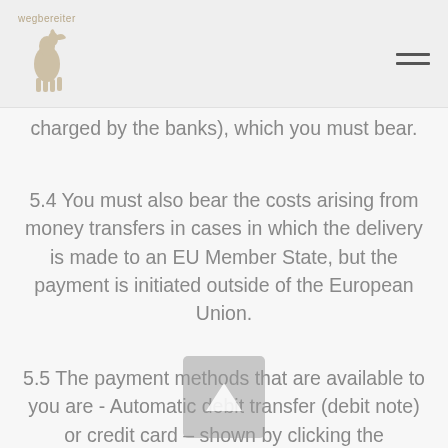wegbereiter [logo with horse]
charged by the banks), which you must bear.
5.4 You must also bear the costs arising from money transfers in cases in which the delivery is made to an EU Member State, but the payment is initiated outside of the European Union.
5.5 The payment methods that are available to you are - Automatic debit transfer (debit note) or credit card – shown by clicking the appropriate button on our website or are disclosed in the